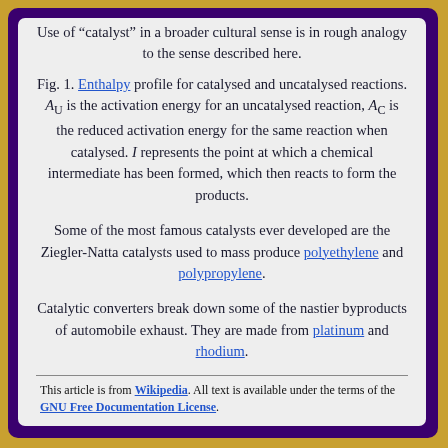Use of "catalyst" in a broader cultural sense is in rough analogy to the sense described here.
Fig. 1. Enthalpy profile for catalysed and uncatalysed reactions. A_U is the activation energy for an uncatalysed reaction, A_C is the reduced activation energy for the same reaction when catalysed. I represents the point at which a chemical intermediate has been formed, which then reacts to form the products.
Some of the most famous catalysts ever developed are the Ziegler-Natta catalysts used to mass produce polyethylene and polypropylene.
Catalytic converters break down some of the nastier byproducts of automobile exhaust. They are made from platinum and rhodium.
This article is from Wikipedia. All text is available under the terms of the GNU Free Documentation License.